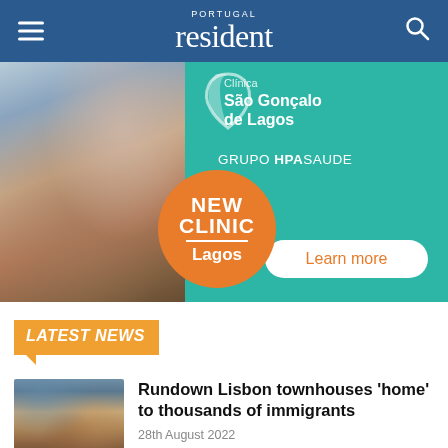PORTUGAL resident
[Figure (photo): Advertisement for Clínica São Gonçalo de Lagos by Grupo HPA Saude. Shows a female doctor smiling with a group of medical staff, teal background with orange badge reading 'NEW CLINIC Lagos' and a 'Learn more' button.]
LATEST NEWS
[Figure (photo): Thumbnail photo of Lisbon townhouses, colourful rooftops and old buildings.]
Rundown Lisbon townhouses 'home' to thousands of immigrants
28th August 2022